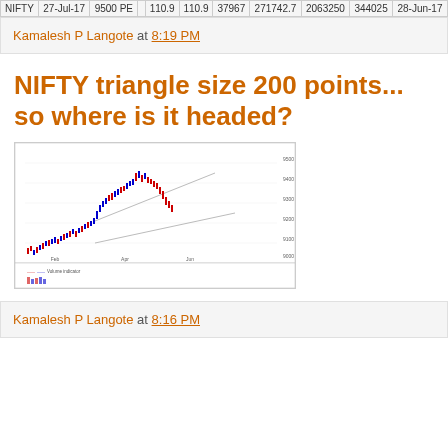| NIFTY | 27-Jul-17 | 9500 PE |  | 110.9 | 110.9 | 37967 | 271742.7 | 2063250 | 344025 | 28-Jun-17 |
Kamalesh P Langote at 8:19 PM
NIFTY triangle size 200 points... so where is it headed?
[Figure (continuous-plot): NIFTY candlestick/OHLC chart showing price movement with an upward trend followed by a decline, with a triangle pattern overlay. Two sub-panels visible: main price chart and a volume/indicator panel below. Y-axis shows price levels, x-axis shows dates.]
Kamalesh P Langote at 8:16 PM